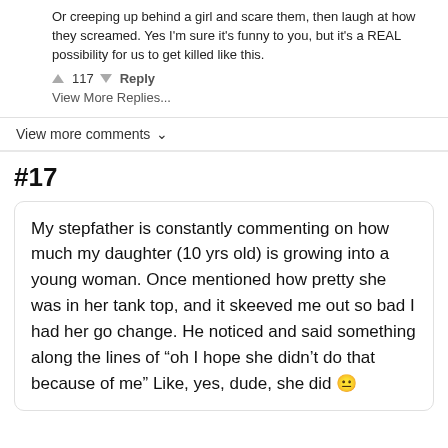Or creeping up behind a girl and scare them, then laugh at how they screamed. Yes I'm sure it's funny to you, but it's a REAL possibility for us to get killed like this.
117  Reply
View More Replies...
View more comments ∨
#17
My stepfather is constantly commenting on how much my daughter (10 yrs old) is growing into a young woman. Once mentioned how pretty she was in her tank top, and it skeeved me out so bad I had her go change. He noticed and said something along the lines of “oh I hope she didn’t do that because of me” Like, yes, dude, she did 😐